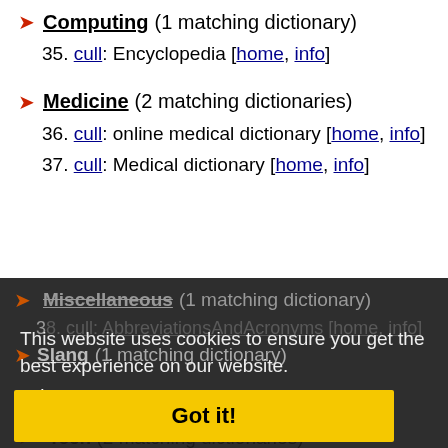Computing (1 matching dictionary)
35. cull: Encyclopedia [home, info]
Medicine (2 matching dictionaries)
36. cull: online medical dictionary [home, info]
37. cull: Medical dictionary [home, info]
Miscellaneous (1 matching dictionary)
This website uses cookies to ensure you get the best experience on our website.
Learn more
Slang (1 matching dictionary)
39. Cull: Urban Dictionary [home, info]
Got it!
Tech (2 matching dictionaries)